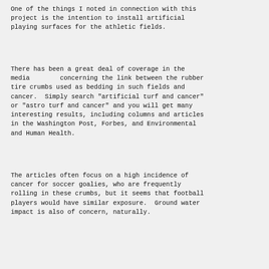One of the things I noted in connection with this project is the intention to install artificial playing surfaces for the athletic fields.
There has been a great deal of coverage in the media        concerning the link between the rubber tire crumbs used as bedding in such fields and cancer.  Simply search "artificial turf and cancer" or "astro turf and cancer" and you will get many interesting results, including columns and articles in the Washington Post, Forbes, and Environmental and Human Health.
The articles often focus on a high incidence of cancer for soccer goalies, who are frequently rolling in these crumbs, but it seems that football players would have similar exposure.  Ground water impact is also of concern, naturally.